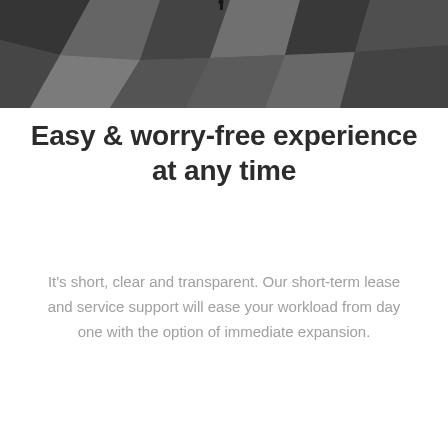[Figure (photo): Aerial or top-down view of geometric patterned floor tiles in shades of grey and dark charcoal, with a small figure visible at the top center]
Easy & worry-free experience at any time
It's short, clear and transparent. Our short-term lease and service support will ease your workload from day one with the option of immediate expansion.